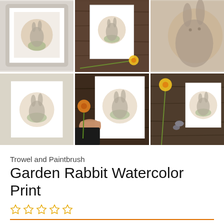[Figure (photo): Grid of 6 product photos showing a garden rabbit watercolor print in various settings: framed on wall, on wooden surface with daffodil, close-up of rabbit watercolor, unframed print on linen, hand holding the print with orange flower, and print with daffodil and stones on wood surface.]
Trowel and Paintbrush
Garden Rabbit Watercolor Print
[Figure (other): Five empty star rating icons in gold/orange outline]
price bar (partially visible)